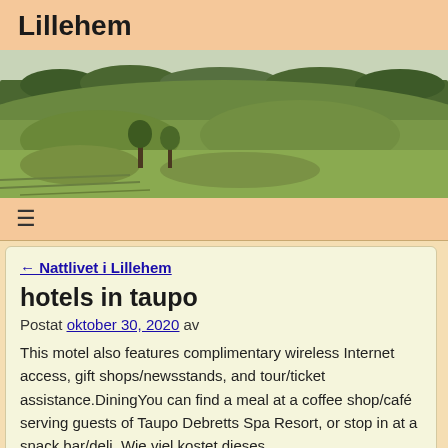Lillehem
[Figure (photo): Aerial/elevated landscape photo showing rolling green fields and hills with trees in the background under an overcast sky.]
≡
← Nattlivet i Lillehem
hotels in taupo
Postat oktober 30, 2020 av
This motel also features complimentary wireless Internet access, gift shops/newsstands, and tour/ticket assistance.DiningYou can find a meal at a coffee shop/café serving guests of Taupo Debretts Spa Resort, or stop in at a snack bar/deli. Wie viel kostet dieses